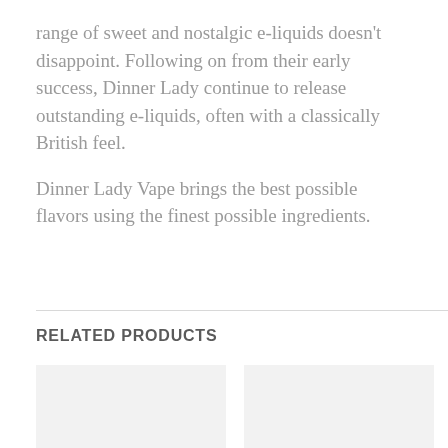range of sweet and nostalgic e-liquids doesn't disappoint. Following on from their early success, Dinner Lady continue to release outstanding e-liquids, often with a classically British feel.

Dinner Lady Vape brings the best possible flavors using the finest possible ingredients.
RELATED PRODUCTS
[Figure (other): Two product image placeholder boxes side by side]